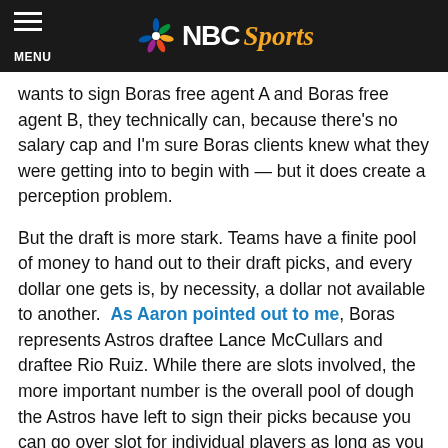NBC Sports
wants to sign Boras free agent A and Boras free agent B, they technically can, because there's no salary cap and I'm sure Boras clients knew what they were getting into to begin with — but it does create a perception problem.
But the draft is more stark. Teams have a finite pool of money to hand out to their draft picks, and every dollar one gets is, by necessity, a dollar not available to another. As Aaron pointed out to me, Boras represents Astros draftee Lance McCullars and draftee Rio Ruiz. While there are slots involved, the more important number is the overall pool of dough the Astros have left to sign their picks because you can go over slot for individual players as long as you don't break your draft cap. If Boras makes a push for Houston to pay McCullers a few dollars more, isn't that necessarily harming Ruiz?
Again, I'm not saying Boras is doing anything wrong